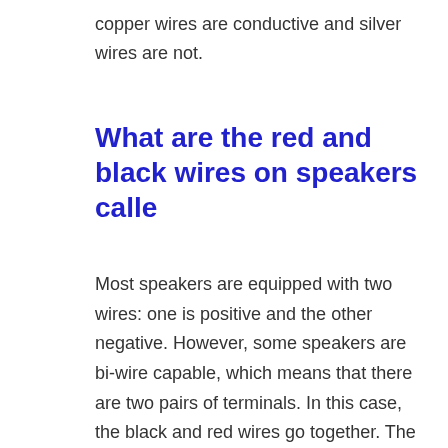copper wires are conductive and silver wires are not.
What are the red and black wires on speakers calle
Most speakers are equipped with two wires: one is positive and the other negative. However, some speakers are bi-wire capable, which means that there are two pairs of terminals. In this case, the black and red wires go together. The positive wire is normally labelled with a red dot, and the negative is black. Some speakers do not